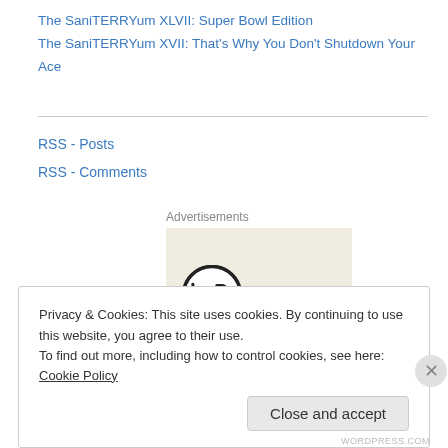The SaniTERRYum XLVII: Super Bowl Edition
The SaniTERRYum XVII: That's Why You Don't Shutdown Your Ace
RSS - Posts
RSS - Comments
[Figure (logo): WordPress logo inside a beige advertisement box, labeled 'Advertisements']
Privacy & Cookies: This site uses cookies. By continuing to use this website, you agree to their use.
To find out more, including how to control cookies, see here: Cookie Policy
Close and accept